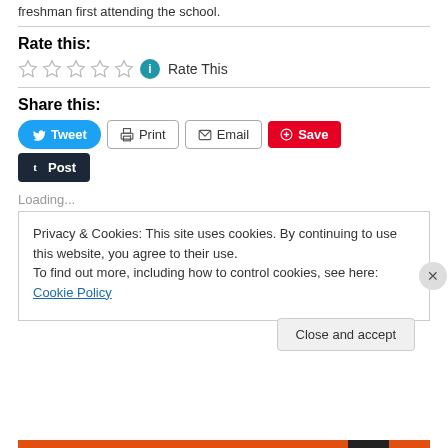freshman first attending the school.
Rate this:
Rate This
Share this:
Tweet  Print  Email  Save  Post
Loading...
Privacy & Cookies: This site uses cookies. By continuing to use this website, you agree to their use.
To find out more, including how to control cookies, see here: Cookie Policy
Close and accept